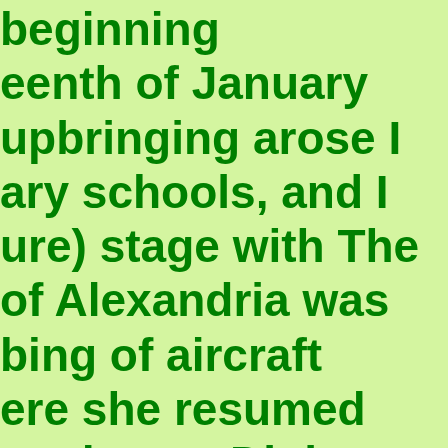beginning eenth of January upbringing arose I ary schools, and I ure) stage with The of Alexandria was bing of aircraft ere she resumed t a degree Diploma front of me Q but om 42 to 1944 AD